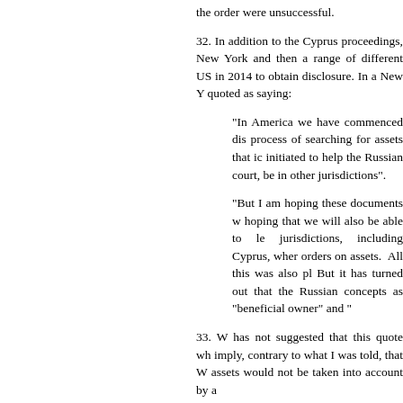the order were unsuccessful.
32. In addition to the Cyprus proceedings, New York and then a range of different US in 2014 to obtain disclosure. In a New Y quoted as saying:
"In America we have commenced dis process of searching for assets that ic initiated to help the Russian court, be in other jurisdictions".
"But I am hoping these documents w hoping that we will also be able to le jurisdictions, including Cyprus, wher orders on assets.  All this was also pl But it has turned out that the Russian concepts as "beneficial owner" and "
33. W has not suggested that this quote wh imply, contrary to what I was told, that W assets would not be taken into account by a
34. W says this in her statement about the R
197.  I made exhaustive efforts to ob just too powerful.  I am certain that t Judge Zhrebets – who heard a numbe influenced by VB, his connections i